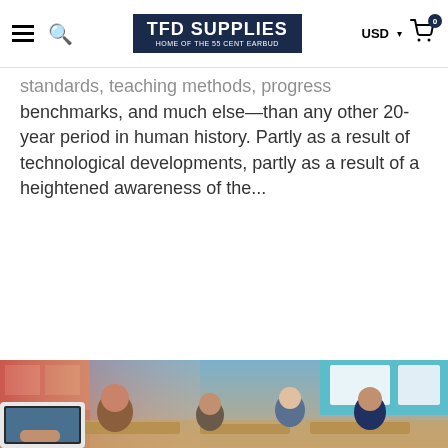TFD SUPPLIES — HOME OF THE 55 CENT EARBUD — USD — Cart
standards, teaching methods, progress benchmarks, and much else—than any other 20-year period in human history. Partly as a result of technological developments, partly as a result of a heightened awareness of the...
Read more
[Figure (photo): Classroom photo showing elementary school children sitting at desks, smiling at camera, some holding tablets. A teacher's hand holds a tablet in the foreground. Colorful classroom background.]